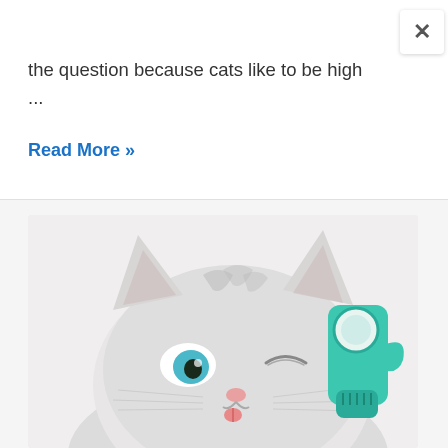the question because cats like to be high ...
Read More »
[Figure (photo): A winking white/silver tabby cat with blue and green eyes, with its tongue slightly out. Next to it is a teal/green cat toy with a mirror and brush elements.]